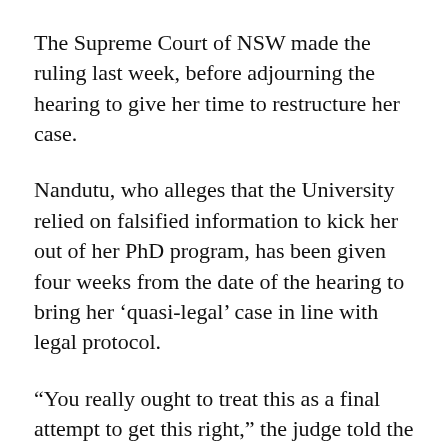The Supreme Court of NSW made the ruling last week, before adjourning the hearing to give her time to restructure her case.
Nandutu, who alleges that the University relied on falsified information to kick her out of her PhD program, has been given four weeks from the date of the hearing to bring her ‘quasi-legal’ case in line with legal protocol.
“You really ought to treat this as a final attempt to get this right,” the judge told the plaintiff. “You cannot add things as if it’s a shopping list…You need to bring all of your requests forward to the court at one time.”
The hearing has also been pushed back due to